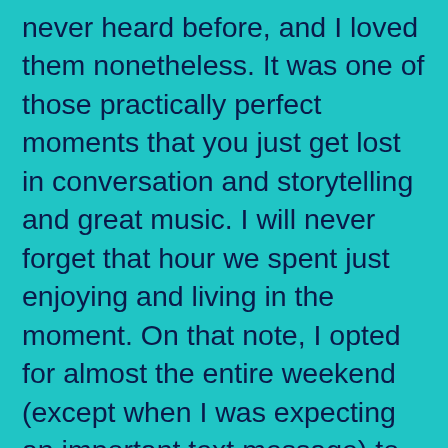never heard before, and I loved them nonetheless. It was one of those practically perfect moments that you just get lost in conversation and storytelling and great music. I will never forget that hour we spent just enjoying and living in the moment. On that note, I opted for almost the entire weekend (except when I was expecting an important text message) to leave my phone in the room. For those who know me well, I am never without my phone, but this weekend I was unplugged, much like Unca Banjo. 😉